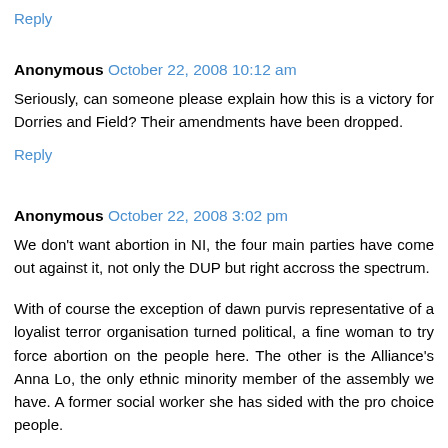Reply
Anonymous October 22, 2008 10:12 am
Seriously, can someone please explain how this is a victory for Dorries and Field? Their amendments have been dropped.
Reply
Anonymous October 22, 2008 3:02 pm
We don't want abortion in NI, the four main parties have come out against it, not only the DUP but right accross the spectrum.
With of course the exception of dawn purvis representative of a loyalist terror organisation turned political, a fine woman to try force abortion on the people here. The other is the Alliance's Anna Lo, the only ethnic minority member of the assembly we have. A former social worker she has sided with the pro choice people.